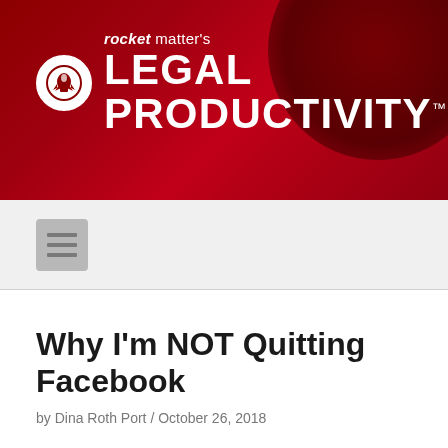[Figure (logo): Rocket Matter's Legal Productivity brand header banner with rocket logo, dark red gradient background with decorative circle]
[Figure (other): Navigation bar with hamburger menu icon on light gray background]
Why I'm NOT Quitting Facebook
by Dina Roth Port / October 26, 2018